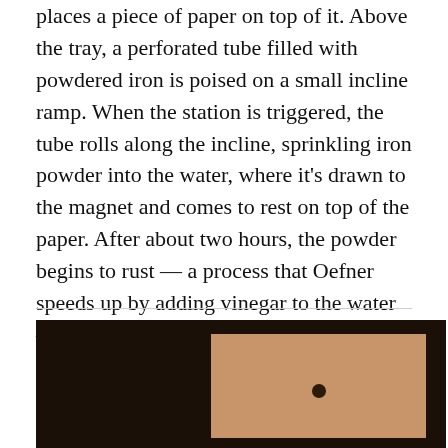places a piece of paper on top of it. Above the tray, a perforated tube filled with powdered iron is poised on a small incline ramp. When the station is triggered, the tube rolls along the incline, sprinkling iron powder into the water, where it’s drawn to the magnet and comes to rest on top of the paper. After about two hours, the powder begins to rust — a process that Oefner speeds up by adding vinegar to the water — and the rust is imprinted into the paper. “When you take the paper out of the water, you can see how the magnet was placed underneath,” he says.
[Figure (photo): A dark photograph showing what appears to be a box or tray illuminated from above, with warm amber/orange tones inside and dark surroundings. A small dark circular object (possibly a magnet or hole) is visible near the top center of the lit interior.]